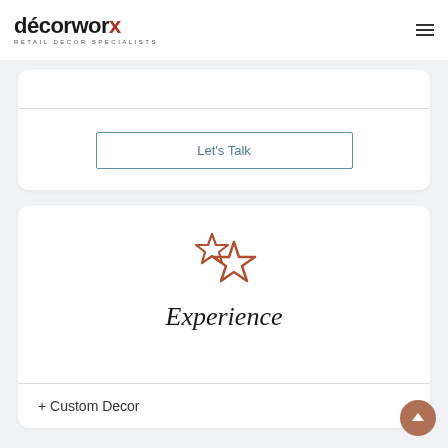[Figure (logo): Decorworx logo — 'décorworx' in bold with red accent on the x, subtitle 'RETAIL DECOR SPECIALISTS']
[Figure (other): Hamburger menu icon (three horizontal lines)]
Let's Talk
[Figure (illustration): Two stars icon in rust/terracotta color — one smaller star overlapping a larger star outline]
Experience
+ Custom Decor